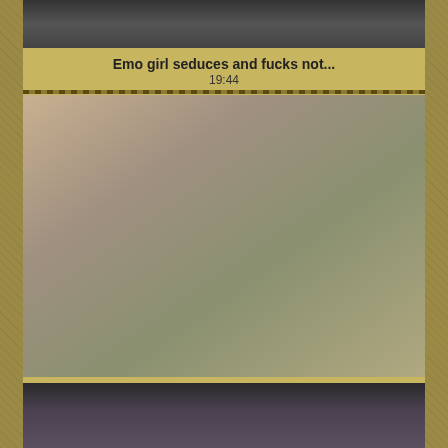[Figure (photo): Thumbnail image of video 1 - partial cropped photo]
Emo girl seduces and fucks not...
19:44
[Figure (photo): Photo of three people including two women and a man in a bathroom setting]
Ava Addams & McKenzie Lee...
8:00
[Figure (photo): Partial thumbnail of third video showing two women]